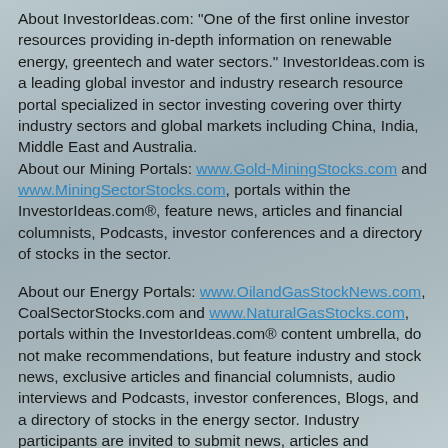About InvestorIdeas.com: "One of the first online investor resources providing in-depth information on renewable energy, greentech and water sectors." InvestorIdeas.com is a leading global investor and industry research resource portal specialized in sector investing covering over thirty industry sectors and global markets including China, India, Middle East and Australia.
About our Mining Portals: www.Gold-MiningStocks.com and www.MiningSectorStocks.com, portals within the InvestorIdeas.com®, feature news, articles and financial columnists, Podcasts, investor conferences and a directory of stocks in the sector.
About our Energy Portals: www.OilandGasStockNews.com, CoalSectorStocks.com and www.NaturalGasStocks.com, portals within the InvestorIdeas.com® content umbrella, do not make recommendations, but feature industry and stock news, exclusive articles and financial columnists, audio interviews and Podcasts, investor conferences, Blogs, and a directory of stocks in the energy sector. Industry participants are invited to submit news, articles and research.
Disclaimer: Our sites do not make recommendations, but